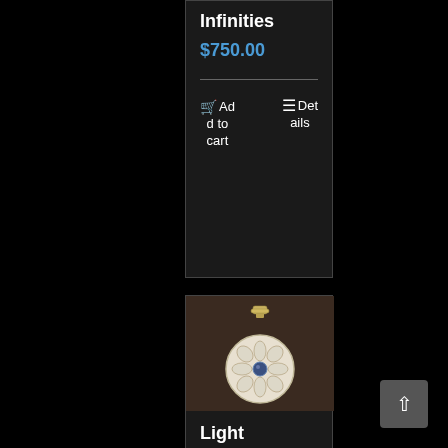Infinities
$750.00
Add to cart   Details
[Figure (photo): A round carved pendant with flower-like radial pattern and a cross-shaped metal bail, photographed against a dark brown background.]
Light Stream Flower of